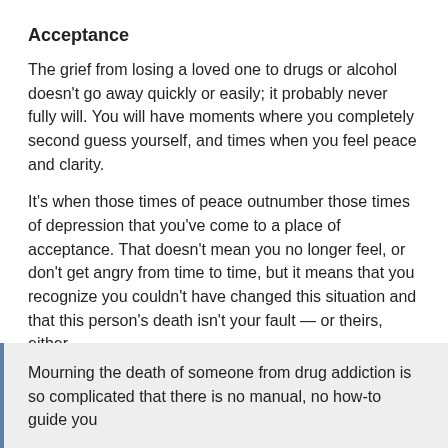Acceptance
The grief from losing a loved one to drugs or alcohol doesn't go away quickly or easily; it probably never fully will. You will have moments where you completely second guess yourself, and times when you feel peace and clarity.
It's when those times of peace outnumber those times of depression that you've come to a place of acceptance. That doesn't mean you no longer feel, or don't get angry from time to time, but it means that you recognize you couldn't have changed this situation and that this person's death isn't your fault — or theirs, either.
You make your peace with reality and focus your memory on the positive, hopeful times you shared.
Mourning the death of someone from drug addiction is so complicated that there is no manual, no how-to guide you